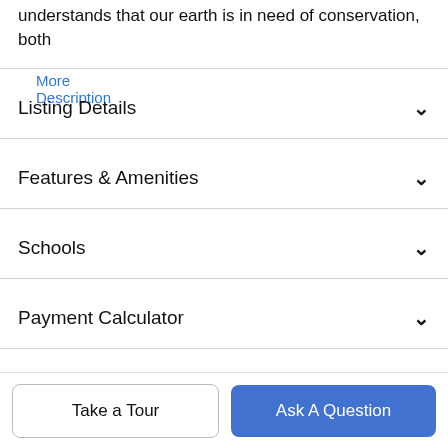understands that our earth is in need of conservation, both
More Description
Listing Details
Features & Amenities
Schools
Payment Calculator
Contact Agent
[Figure (photo): Circular profile photo of a real estate agent with dark hair]
Take a Tour
Ask A Question